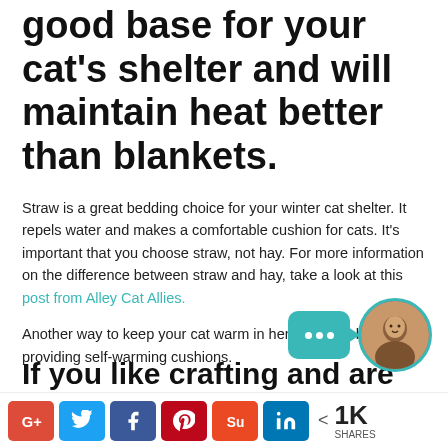good base for your cat's shelter and will maintain heat better than blankets.
Straw is a great bedding choice for your winter cat shelter. It repels water and makes a comfortable cushion for cats. It's important that you choose straw, not hay. For more information on the difference between straw and hay, take a look at this post from Alley Cat Allies.
Another way to keep your cat warm in her shelter is by providing self-warming cushions.
[Figure (photo): Chat bubble icon with three dots and circular avatar photo of a woman]
If you like crafting and are
[Figure (infographic): Social share bar with Google+, Twitter, Facebook, Pinterest, StumbleUpon, LinkedIn buttons and 1K shares count]